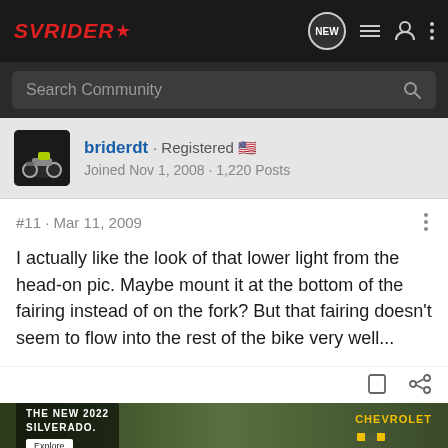SVRider* — Navigation bar with search
briderdt · Registered 🇺🇸
Joined Nov 1, 2008 · 1,220 Posts
#11 · Mar 11, 2009
I actually like the look of that lower light from the head-on pic. Maybe mount it at the bottom of the fairing instead of on the fork? But that fairing doesn't seem to flow into the rest of the bike very well...
[Figure (photo): Chevrolet advertisement banner for The New 2022 Silverado with an Explore button and Chevrolet logo]
F...